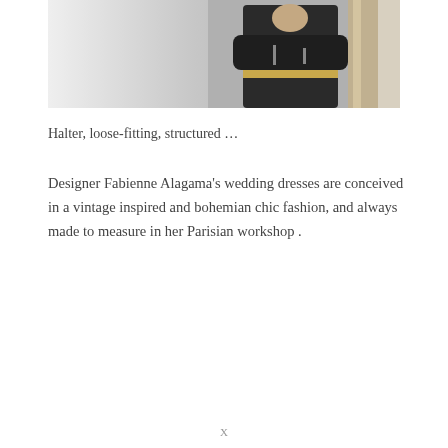[Figure (photo): A person wearing a black leather jacket with gold belt accessories, standing in what appears to be a fashion workshop or boutique with clothing racks in the background. The left side of the image is lighter/washed out.]
Halter, loose-fitting, structured …
Designer Fabienne Alagama's wedding dresses are conceived in a vintage inspired and bohemian chic fashion, and always made to measure in her Parisian workshop .
X